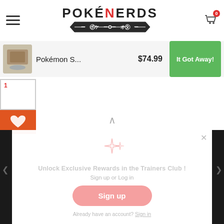[Figure (logo): PokéNerds logo with Japanese subtitle ポケオタ]
Pokémon S...  $74.99  It Got Away!
[Figure (screenshot): Wishlist card with number 1 and heart icon on orange background]
Unlock Exclusive Rewards in the Trainers Club !
Sign up or Log in
Sign up
Already have an account? Sign in